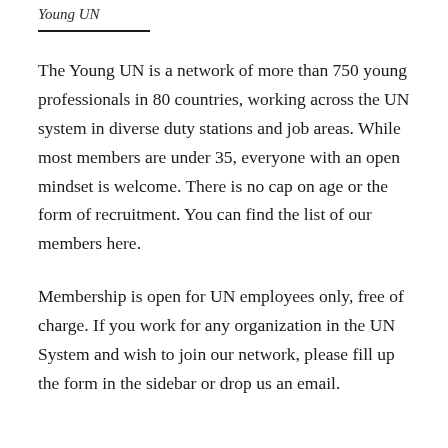Young UN
The Young UN is a network of more than 750 young professionals in 80 countries, working across the UN system in diverse duty stations and job areas. While most members are under 35, everyone with an open mindset is welcome. There is no cap on age or the form of recruitment. You can find the list of our members here.
Membership is open for UN employees only, free of charge. If you work for any organization in the UN System and wish to join our network, please fill up the form in the sidebar or drop us an email.